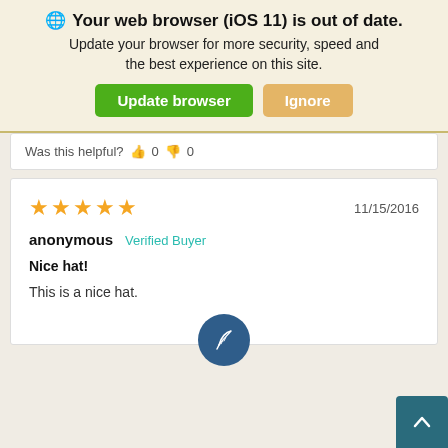🌐 Your web browser (iOS 11) is out of date. Update your browser for more security, speed and the best experience on this site.
Update browser | Ignore
Was this helpful? 👍 0 👎 0
★★★★★  11/15/2016
anonymous  Verified Buyer
Nice hat!
This is a nice hat.